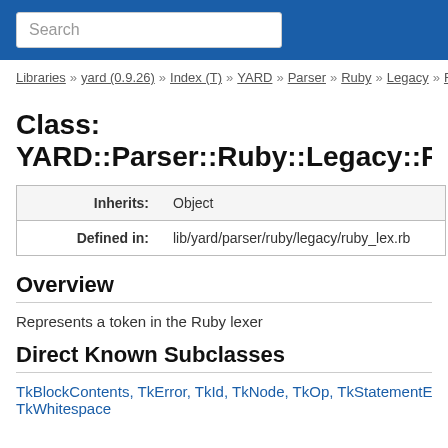Search
Libraries » yard (0.9.26) » Index (T) » YARD » Parser » Ruby » Legacy » Ru
Class: YARD::Parser::Ruby::Legacy::RubyT
| Inherits: | Object |
| Defined in: | lib/yard/parser/ruby/legacy/ruby_lex.rb |
Overview
Represents a token in the Ruby lexer
Direct Known Subclasses
TkBlockContents, TkError, TkId, TkNode, TkOp, TkStatementEnd, Tk TkWhitespace